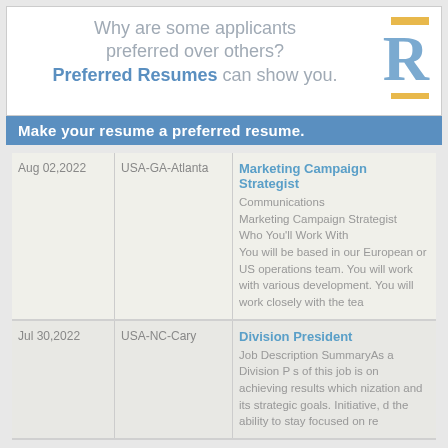[Figure (infographic): Preferred Resumes advertisement banner with logo letter R and decorative gold bars]
Make your resume a preferred resume.
| Date | Location | Job |
| --- | --- | --- |
| Aug 02,2022 | USA-GA-Atlanta | Marketing Campaign Strategist
Communications
Marketing Campaign Strategist
Who You'll Work With
You will be based in our European or US operations team. You will work with various development. You will work closely with the team |
| Jul 30,2022 | USA-NC-Cary | Division President
Job Description SummaryAs a Division President s of this job is on achieving results which nization and its strategic goals. Initiative, d the ability to stay focused on re |